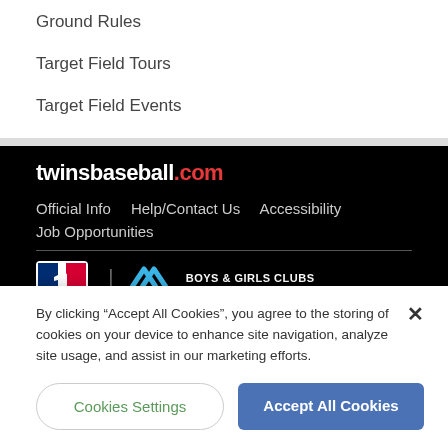Ground Rules
Target Field Tours
Target Field Events
[Figure (logo): twinsbaseball.com logo in white and red on black background]
Official Info    Help/Contact Us    Accessibility
Job Opportunities
[Figure (logo): MLB silhouette logo and Boys & Girls Clubs logo with text]
By clicking "Accept All Cookies", you agree to the storing of cookies on your device to enhance site navigation, analyze site usage, and assist in our marketing efforts.
Cookies Settings    Accept All Cookies